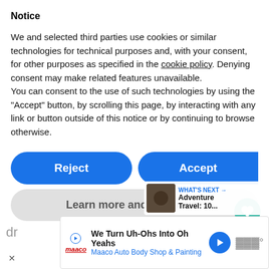Notice
We and selected third parties use cookies or similar technologies for technical purposes and, with your consent, for other purposes as specified in the cookie policy. Denying consent may make related features unavailable.
You can consent to the use of such technologies by using the “Accept” button, by scrolling this page, by interacting with any link or button outside of this notice or by continuing to browse otherwise.
Reject
Accept
Learn more and customize
1.1K
WHAT'S NEXT → Adventure Travel: 10...
covers most of Europe, highlights all the
[Figure (screenshot): Advertisement banner: Maaco Auto Body Shop & Painting - We Turn Uh-Ohs Into Oh Yeahs]